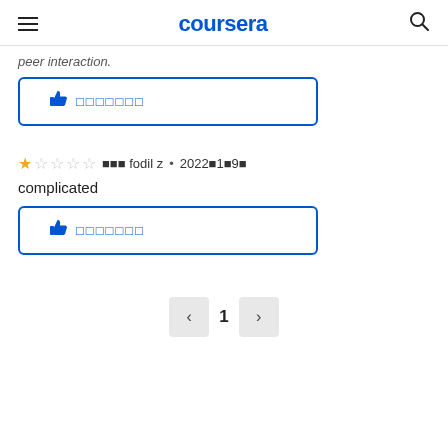coursera
peer interaction.
[Figure (other): Helpful button with thumbs up icon and placeholder text (dotted squares)]
★☆☆☆☆  ■■■ fodil z • 2022■1■9■
complicated
[Figure (other): Helpful button with thumbs up icon and placeholder text (dotted squares)]
< 1 >